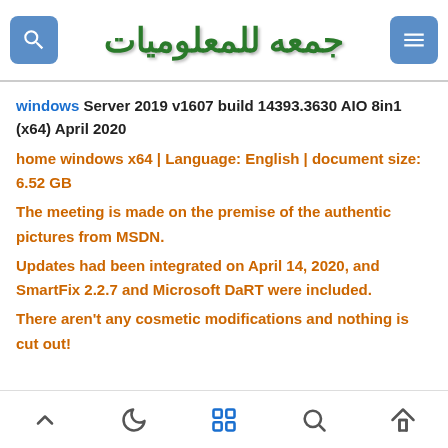جمعه للمعلوميات
windows Server 2019 v1607 build 14393.3630 AIO 8in1 (x64) April 2020
home windows x64 | Language: English | document size: 6.52 GB
The meeting is made on the premise of the authentic pictures from MSDN.
Updates had been integrated on April 14, 2020, and SmartFix 2.2.7 and Microsoft DaRT were included.
There aren't any cosmetic modifications and nothing is cut out!
navigation icons